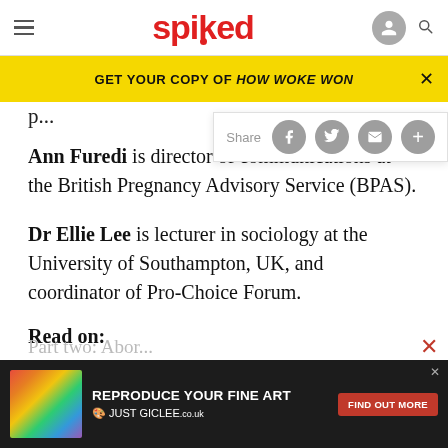spiked
GET YOUR COPY OF HOW WOKE WON
Share
Ann Furedi is director of communications at the British Pregnancy Advisory Service (BPAS).
Dr Ellie Lee is lecturer in sociology at the University of Southampton, UK, and coordinator of Pro-Choice Forum.
Read on:
Part two: Abortion...
ABOUT
[Figure (screenshot): Advertisement for 'REPRODUCE YOUR FINE ART - JUST GICLEE' with FIND OUT MORE button]